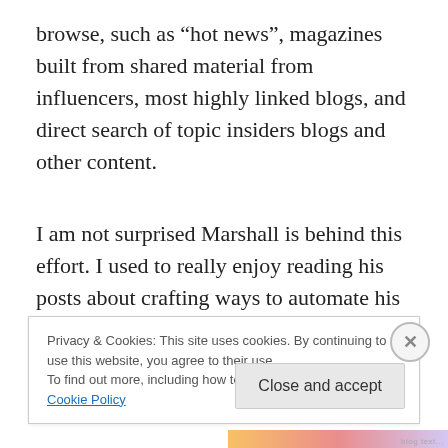browse, such as “hot news”, magazines built from shared material from influencers, most highly linked blogs, and direct search of topic insiders blogs and other content.
I am not surprised Marshall is behind this effort. I used to really enjoy reading his posts about crafting ways to automate his search to find whatever information he might be looking for – going deep into the Web trenches to pull
Privacy & Cookies: This site uses cookies. By continuing to use this website, you agree to their use.
To find out more, including how to control cookies, see here: Cookie Policy
Close and accept